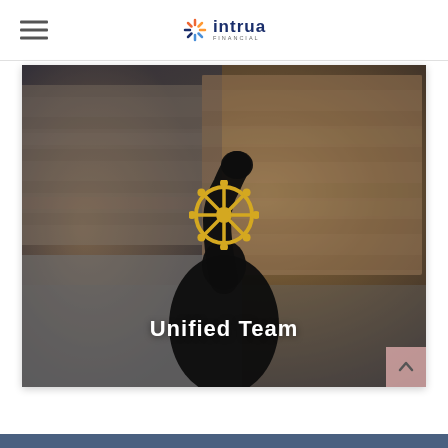Intrua Financial
[Figure (photo): A silhouetted person raising their fist in a crowded stadium/arena setting, with a ship's wheel (helm) icon overlaid in gold, and the text 'Unified Team' displayed in white over the image.]
Unified Team